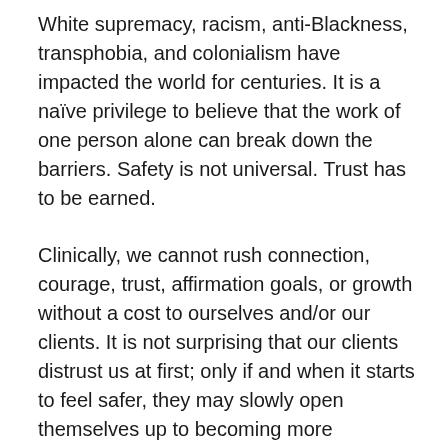White supremacy, racism, anti-Blackness, transphobia, and colonialism have impacted the world for centuries. It is a naïve privilege to believe that the work of one person alone can break down the barriers. Safety is not universal. Trust has to be earned.
Clinically, we cannot rush connection, courage, trust, affirmation goals, or growth without a cost to ourselves and/or our clients. It is not surprising that our clients distrust us at first; only if and when it starts to feel safer, they may slowly open themselves up to becoming more vulnerable.
CONNECT AND NURTURE YOURSELF.